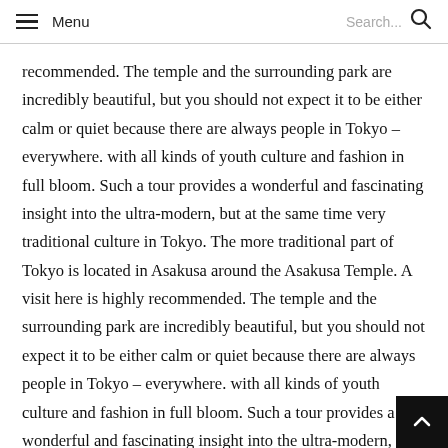Menu  Search...
recommended. The temple and the surrounding park are incredibly beautiful, but you should not expect it to be either calm or quiet because there are always people in Tokyo – everywhere. with all kinds of youth culture and fashion in full bloom. Such a tour provides a wonderful and fascinating insight into the ultra-modern, but at the same time very traditional culture in Tokyo. The more traditional part of Tokyo is located in Asakusa around the Asakusa Temple. A visit here is highly recommended. The temple and the surrounding park are incredibly beautiful, but you should not expect it to be either calm or quiet because there are always people in Tokyo – everywhere. with all kinds of youth culture and fashion in full bloom. Such a tour provides a wonderful and fascinating insight into the ultra-modern,